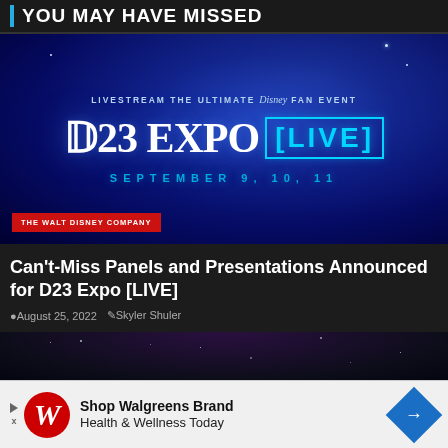YOU MAY HAVE MISSED
[Figure (photo): D23 Expo Live promotional banner with blue background showing 'LIVESTREAM THE ULTIMATE DISNEY FAN EVENT', 'D23 EXPO [LIVE]', 'SEPTEMBER 9, 10, 11', and 'THE WALT DISNEY COMPANY' red tag]
Can't-Miss Panels and Presentations Announced for D23 Expo [LIVE]
August 25, 2022   Skyler Shuler
[Figure (photo): Partial preview of the next article card showing a dark starry background]
Shop Walgreens Brand Health & Wellness Today